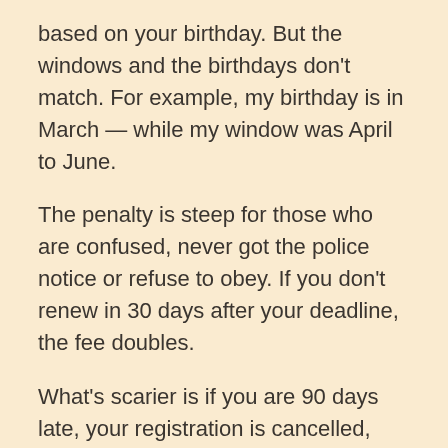based on your birthday. But the windows and the birthdays don't match. For example, my birthday is in March — while my window was April to June.
The penalty is steep for those who are confused, never got the police notice or refuse to obey. If you don't renew in 30 days after your deadline, the fee doubles.
What's scarier is if you are 90 days late, your registration is cancelled, and you are committing a felony. The penalty is $1,000 fine and up to a year in jail on each count — that is for each gun.
So far, the police have not turned over to the Office of the Attorney General the names of the